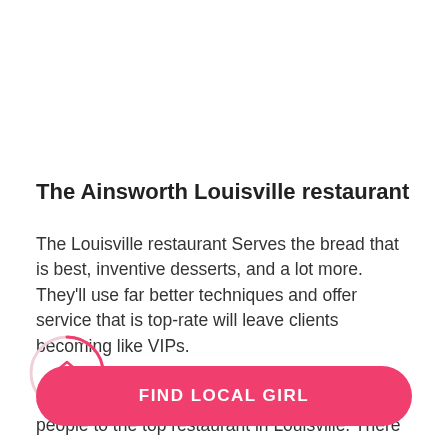The Ainsworth Louisville restaurant
The Louisville restaurant Serves the bread that is best, inventive desserts, and a lot more. They'll use far better techniques and offer service that is top-rate will leave clients becoming like VIPs.
[Figure (donut-chart): Partial donut/circle widget showing 72% in pink text with an upward chevron icon, overlapping the text area on the left side.]
experienced nigiri and sashimi are what lure people to the top restaurant in Louisville. There
FIND LOCAL GIRL